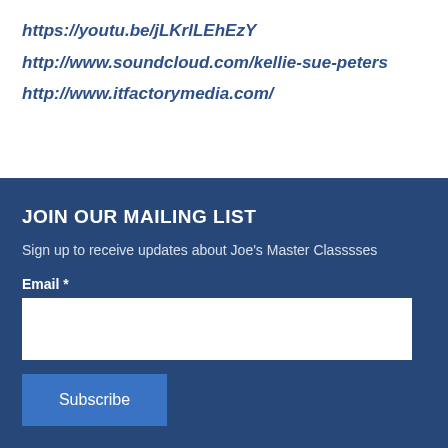https://youtu.be/jLKrlLEhEzY
http://www.soundcloud.com/kellie-sue-peters
http://www.itfactorymedia.com/
JOIN OUR MAILING LIST
Sign up to receive updates about Joe’s Master Classsses
Email *
Subscribe